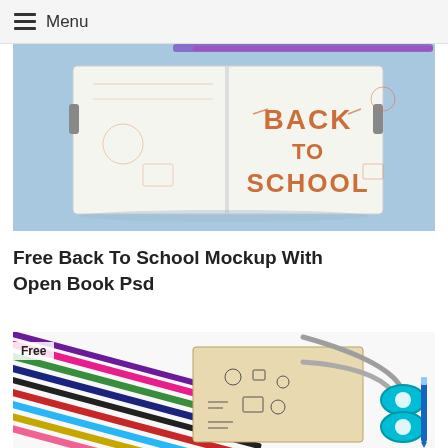Menu
[Figure (photo): Back to school mockup photo: open notebook with 'BACK TO SCHOOL' hand-lettered in orange on white pages, surrounded by school supplies on a blue background]
Free Back To School Mockup With Open Book Psd
[Figure (photo): Back to school mockup: colored pencils and scissors alongside an open book with doodle illustrations on a white background. Has a 'Free' badge in top-left corner.]